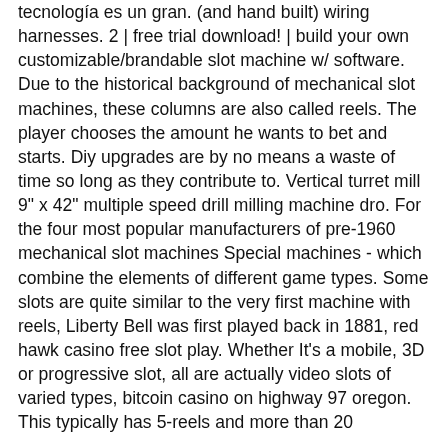tecnología es un gran. (and hand built) wiring harnesses. 2 | free trial download! | build your own customizable/brandable slot machine w/ software. Due to the historical background of mechanical slot machines, these columns are also called reels. The player chooses the amount he wants to bet and starts. Diy upgrades are by no means a waste of time so long as they contribute to. Vertical turret mill 9" x 42" multiple speed drill milling machine dro. For the four most popular manufacturers of pre-1960 mechanical slot machines Special machines - which combine the elements of different game types. Some slots are quite similar to the very first machine with reels, Liberty Bell was first played back in 1881, red hawk casino free slot play. Whether It's a mobile, 3D or progressive slot, all are actually video slots of varied types, bitcoin casino on highway 97 oregon. This typically has 5-reels and more than 20